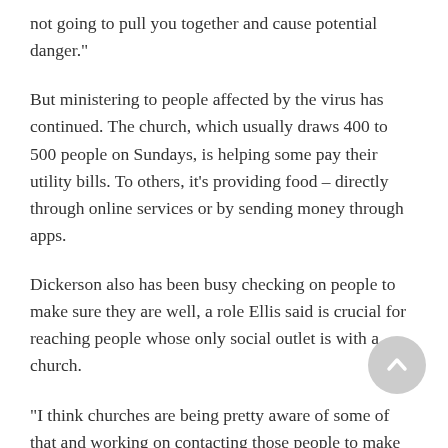not going to pull you together and cause potential danger."
But ministering to people affected by the virus has continued. The church, which usually draws 400 to 500 people on Sundays, is helping some pay their utility bills. To others, it's providing food – directly through online services or by sending money through apps.
Dickerson also has been busy checking on people to make sure they are well, a role Ellis said is crucial for reaching people whose only social outlet is with a church.
"I think churches are being pretty aware of some of that and working on contacting those people to make sure that they don't fall through the cracks," she said.
Dickerson said in this trying season, she is